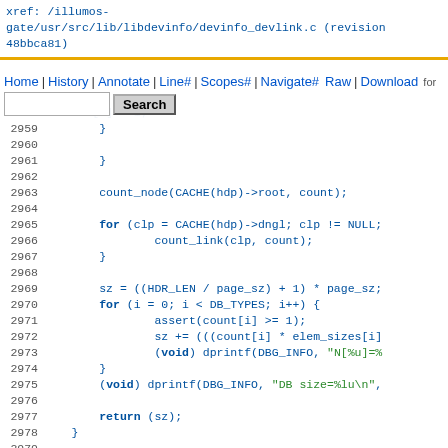xref: /illumos-gate/usr/src/lib/libdevinfo/devinfo_devlink.c (revision 48bbca81)
[Figure (screenshot): Navigation bar overlay with Home | History | Annotate | Line# | Scopes# | Navigate# links, Raw | Download for search bar]
Code listing lines 2958-2982 of devinfo_devlink.c showing C source code with count_node, count_link, sz calculation, for loops, assert, dprintf calls, and count_node function signature